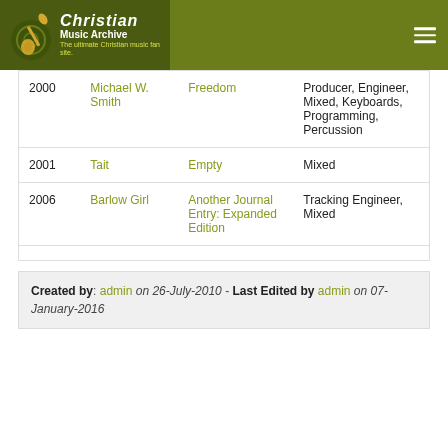[Figure (logo): Christian Music Archive logo with green header bar and hamburger menu icon]
| Year | Artist | Album | Role |
| --- | --- | --- | --- |
| 2000 | Michael W. Smith | Freedom | Producer, Engineer, Mixed, Keyboards, Programming, Percussion |
| 2001 | Tait | Empty | Mixed |
| 2006 | Barlow Girl | Another Journal Entry: Expanded Edition | Tracking Engineer, Mixed |
Created by: admin on 26-July-2010 - Last Edited by admin on 07-January-2016